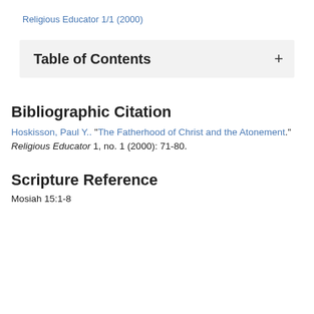Religious Educator 1/1 (2000)
Table of Contents
Bibliographic Citation
Hoskisson, Paul Y.. "The Fatherhood of Christ and the Atonement." Religious Educator 1, no. 1 (2000): 71-80.
Scripture Reference
Mosiah 15:1-8